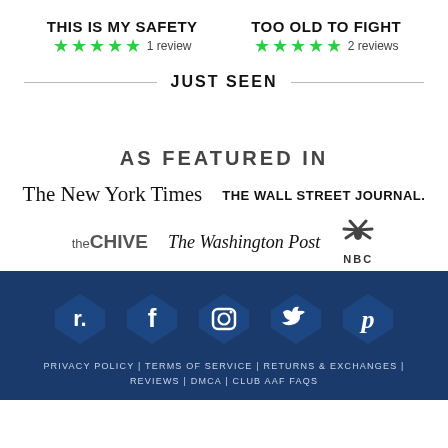THIS IS MY SAFETY
★★★★★ 1 review
TOO OLD TO FIGHT
★★★★★ 2 reviews
JUST SEEN
AS FEATURED IN
[Figure (logo): The New York Times logo in serif blackletter font]
[Figure (logo): THE WALL STREET JOURNAL. logo in bold sans-serif]
[Figure (logo): theCHIVE logo]
[Figure (logo): The Washington Post logo in italic serif]
[Figure (logo): NBC peacock logo with NBC text]
[Figure (infographic): Social media icons row: Tradesy, Facebook, Instagram, Twitter, Pinterest on dark blue background with star shapes]
PRIVACY POLICY | TERMS OF SERVICE | RETURNS & EXCHANGES | REVIEWS | DMCA | CLUB AAF FAQS